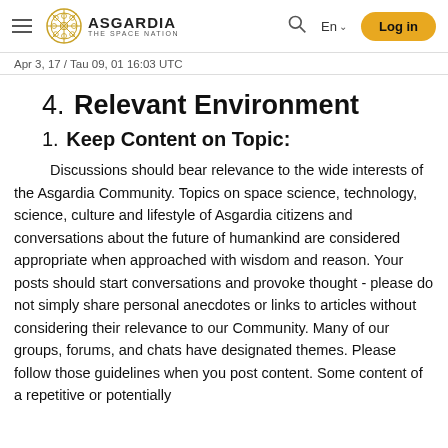ASGARDIA THE SPACE NATION | En | Log in
Apr 3, 17 / Tau 09, 01 16:03 UTC
4. Relevant Environment
1. Keep Content on Topic:
Discussions should bear relevance to the wide interests of the Asgardia Community. Topics on space science, technology, science, culture and lifestyle of Asgardia citizens and conversations about the future of humankind are considered appropriate when approached with wisdom and reason. Your posts should start conversations and provoke thought - please do not simply share personal anecdotes or links to articles without considering their relevance to our Community. Many of our groups, forums, and chats have designated themes. Please follow those guidelines when you post content. Some content of a repetitive or potentially